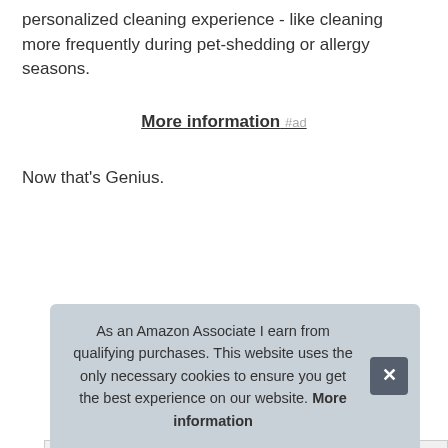personalized cleaning experience - like cleaning more frequently during pet-shedding or allergy seasons.
More information #ad
Now that's Genius.
| Brand | iRobot #ad |
| Height | 15 Inches |
| Length | 15 Inches |
| Weight | 7.44 Pounds |
| P |  |
As an Amazon Associate I earn from qualifying purchases. This website uses the only necessary cookies to ensure you get the best experience on our website. More information